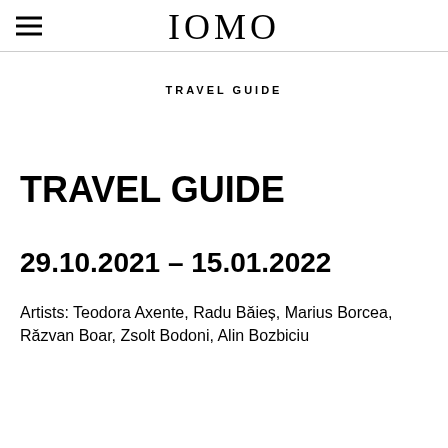IOMO
TRAVEL GUIDE
TRAVEL GUIDE
29.10.2021 – 15.01.2022
Artists: Teodora Axente, Radu Băieș, Marius Borcea, Răzvan Boar, Zsolt Bodoni, Alin Bozbiciu